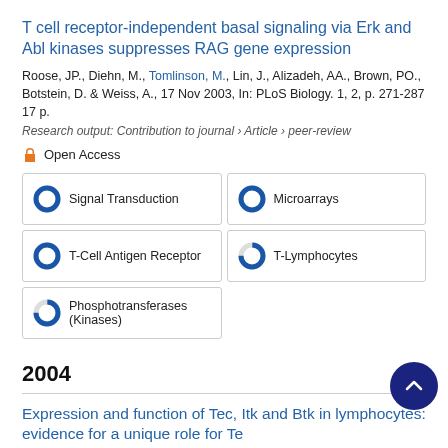T cell receptor-independent basal signaling via Erk and Abl kinases suppresses RAG gene expression
Roose, JP., Diehn, M., Tomlinson, M., Lin, J., Alizadeh, AA., Brown, PO., Botstein, D. & Weiss, A., 17 Nov 2003, In: PLoS Biology. 1, 2, p. 271-287 17 p.
Research output: Contribution to journal › Article › peer-review
Open Access
[Figure (infographic): Fingerprint keywords with donut chart icons: Signal Transduction (100%), Microarrays (100%), T-Cell Antigen Receptor (100%), T-Lymphocytes (75%), Phosphotransferases (Kinases) (75%)]
2004
Expression and function of Tec, Itk and Btk in lymphocytes: evidence for a unique role for Tec
Tomlinson, M., Kane, L., Su, J., Kadlecek, TA., Mollenauer, MN.